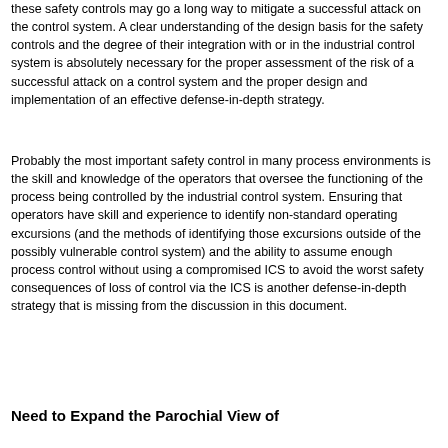these safety controls may go a long way to mitigate a successful attack on the control system. A clear understanding of the design basis for the safety controls and the degree of their integration with or in the industrial control system is absolutely necessary for the proper assessment of the risk of a successful attack on a control system and the proper design and implementation of an effective defense-in-depth strategy.
Probably the most important safety control in many process environments is the skill and knowledge of the operators that oversee the functioning of the process being controlled by the industrial control system. Ensuring that operators have skill and experience to identify non-standard operating excursions (and the methods of identifying those excursions outside of the possibly vulnerable control system) and the ability to assume enough process control without using a compromised ICS to avoid the worst safety consequences of loss of control via the ICS is another defense-in-depth strategy that is missing from the discussion in this document.
Need to Expand the Parochial View of